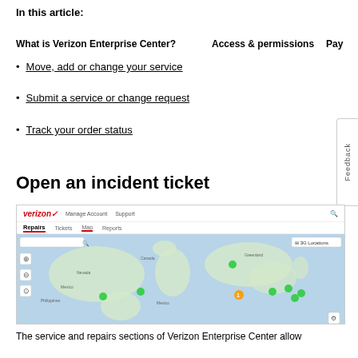In this article:
What is Verizon Enterprise Center?
Access & permissions
Pay
Move, add or change your service
Submit a service or change request
Track your order status
Open an incident ticket
[Figure (screenshot): Verizon Enterprise Center web portal screenshot showing the Repairs section with a Map tab selected, displaying a world map with green and orange location markers across North America and Asia.]
The service and repairs sections of Verizon Enterprise Center allow